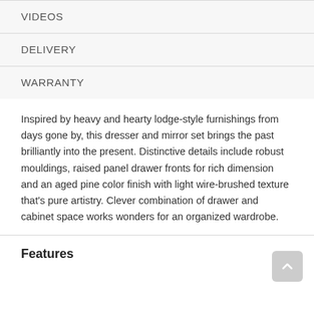VIDEOS
DELIVERY
WARRANTY
Inspired by heavy and hearty lodge-style furnishings from days gone by, this dresser and mirror set brings the past brilliantly into the present. Distinctive details include robust mouldings, raised panel drawer fronts for rich dimension and an aged pine color finish with light wire-brushed texture that's pure artistry. Clever combination of drawer and cabinet space works wonders for an organized wardrobe.
Features